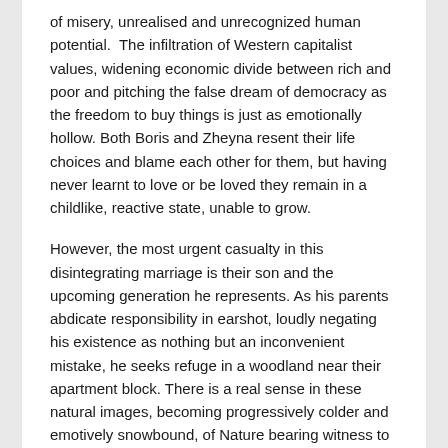of misery, unrealised and unrecognized human potential.  The infiltration of Western capitalist values, widening economic divide between rich and poor and pitching the false dream of democracy as the freedom to buy things is just as emotionally hollow. Both Boris and Zheyna resent their life choices and blame each other for them, but having never learnt to love or be loved they remain in a childlike, reactive state, unable to grow.
However, the most urgent casualty in this disintegrating marriage is their son and the upcoming generation he represents. As his parents abdicate responsibility in earshot, loudly negating his existence as nothing but an inconvenient mistake, he seeks refuge in a woodland near their apartment block. There is a real sense in these natural images, becoming progressively colder and emotively snowbound, of Nature bearing witness to the unfolding human drama. The camera lingers in the hollows of trees and the earth like it is searching for an answer, not just to the boy's disappearance but to the loss of self, identity and purpose in life.  Although he has little